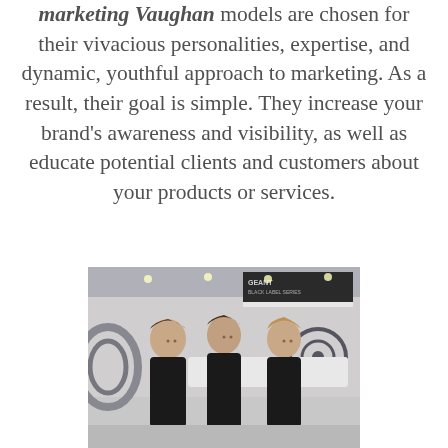marketing Vaughan models are chosen for their vivacious personalities, expertise, and dynamic, youthful approach to marketing. As a result, their goal is simple. They increase your brand's awareness and visibility, as well as educate potential clients and customers about your products or services.
[Figure (photo): Three young women in black outfits standing at a trade show or exhibition booth, smiling at the camera. Display stands and signage visible in the background.]